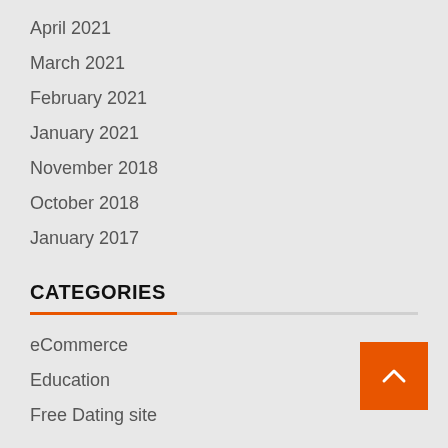April 2021
March 2021
February 2021
January 2021
November 2018
October 2018
January 2017
CATEGORIES
eCommerce
Education
Free Dating site